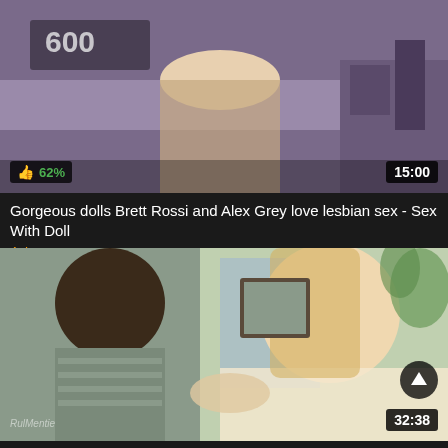[Figure (screenshot): Video thumbnail showing two women in intimate pose on a bed with bedroom background, showing 62% like rating and 15:00 duration overlay]
Gorgeous dolls Brett Rossi and Alex Grey love lesbian sex - Sex With Doll
4 days ago
OkXXX
[Figure (screenshot): Video thumbnail showing a man and blonde woman on a couch in a bright living room, with an up-arrow icon and 32:38 duration overlay, watermark visible]
Brett Rossi Stepsons College Treat - Art Of Porn, Sex Art Erotic